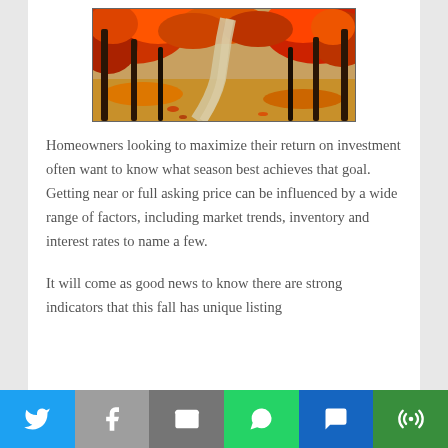[Figure (photo): Autumn forest scene with a winding path covered in fallen red and orange leaves, trees with red foliage on both sides]
Homeowners looking to maximize their return on investment often want to know what season best achieves that goal. Getting near or full asking price can be influenced by a wide range of factors, including market trends, inventory and interest rates to name a few.
It will come as good news to know there are strong indicators that this fall has unique listing